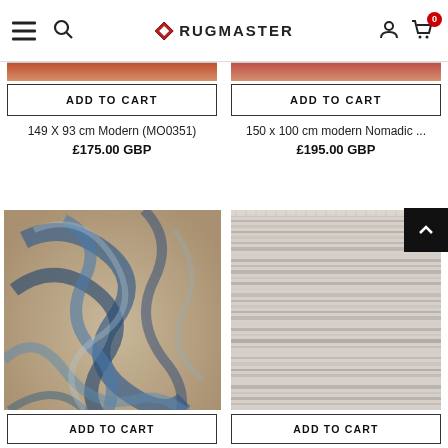RUGMASTER - navigation bar with hamburger menu, search, logo, account and cart icons
[Figure (screenshot): Add to cart button for product: 149 X 93 cm Modern (MO0351), £175.00 GBP]
149 X 93 cm Modern (MO0351)
£175.00 GBP
[Figure (screenshot): Add to cart button for product: 150 x 100 cm modern Nomadic ..., £195.00 GBP]
150 x 100 cm modern Nomadic ...
£195.00 GBP
[Figure (photo): Blue and beige swirling pattern modern rug]
[Figure (photo): Grey and white striped textured rug]